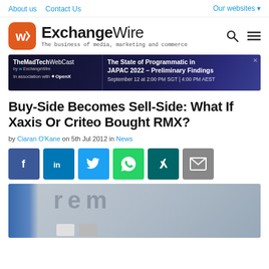About us  Contact Us  Our websites
[Figure (logo): ExchangeWire logo with orange icon and tagline: The business of media, marketing and commerce]
[Figure (screenshot): TheMadTechWebCast by ExchangeWire advertisement banner: The State of Programmatic in JAPAC 2022 – Preliminary Findings, September 12 at 2:00 PM SGT | 4:00 PM AEST, in association with OpenX]
Buy-Side Becomes Sell-Side: What If Xaxis Or Criteo Bought RMX?
by Ciaran O'Kane on 5th Jul 2012 in News
[Figure (infographic): Social sharing buttons: Facebook, LinkedIn, Twitter, WhatsApp, Xing, Email]
[Figure (photo): Blurred article hero image with blue element on the left and blurred text/figures in center]